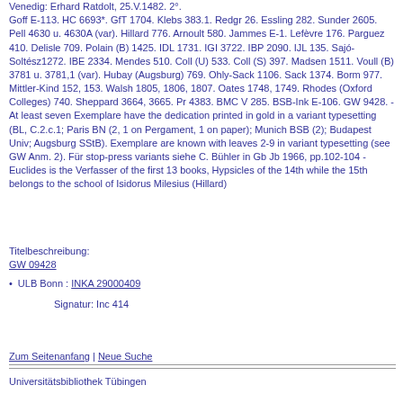Venedig: Erhard Ratdolt, 25.V.1482. 2°. Goff E-113. HC 6693*. GfT 1704. Klebs 383.1. Redgr 26. Essling 282. Sunder 2605. Pell 4630 u. 4630A (var). Hillard 776. Arnoult 580. Jammes E-1. Lefèvre 176. Parguez 410. Delisle 709. Polain (B) 1425. IDL 1731. IGI 3722. IBP 2090. IJL 135. Sajó-Soltész1272. IBE 2334. Mendes 510. Coll (U) 533. Coll (S) 397. Madsen 1511. Voull (B) 3781 u. 3781,1 (var). Hubay (Augsburg) 769. Ohly-Sack 1106. Sack 1374. Borm 977. Mittler-Kind 152, 153. Walsh 1805, 1806, 1807. Oates 1748, 1749. Rhodes (Oxford Colleges) 740. Sheppard 3664, 3665. Pr 4383. BMC V 285. BSB-Ink E-106. GW 9428. - At least seven Exemplare have the dedication printed in gold in a variant typesetting (BL, C.2.c.1; Paris BN (2, 1 on Pergament, 1 on paper); Munich BSB (2); Budapest Univ; Augsburg SStB). Exemplare are known with leaves 2-9 in variant typesetting (see GW Anm. 2). Für stop-press variants siehe C. Bühler in Gb Jb 1966, pp.102-104 - Euclides is the Verfasser of the first 13 books, Hypsicles of the 14th while the 15th belongs to the school of Isidorus Milesius (Hillard)
Titelbeschreibung:
GW 09428
ULB Bonn : INKA 29000409
Signatur: Inc 414
Zum Seitenanfang | Neue Suche
Universitätsbibliothek Tübingen